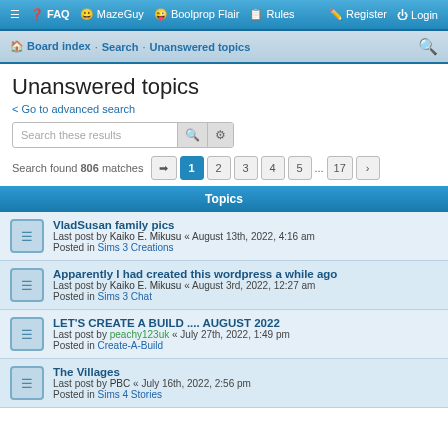☰ FAQ MazeGuy Boolprop Flair Rules Register Login
Board index · Search · Unanswered topics
Unanswered topics
Go to advanced search
Search these results
Search found 806 matches  1 2 3 4 5 ... 17
Topics
VladSusan family pics
Last post by Kaiko E. Mikusu « August 13th, 2022, 4:16 am
Posted in Sims 3 Creations
Apparently I had created this wordpress a while ago
Last post by Kaiko E. Mikusu « August 3rd, 2022, 12:27 am
Posted in Sims 3 Chat
LET'S CREATE A BUILD .... AUGUST 2022
Last post by peachy123uk « July 27th, 2022, 1:49 pm
Posted in Create-A-Build
The Villages
Last post by PBC « July 16th, 2022, 2:56 pm
Posted in Sims 4 Stories